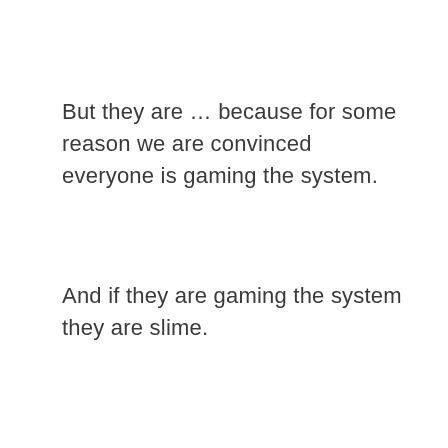But they are … because for some reason we are convinced everyone is gaming the system.
And if they are gaming the system they are slime.